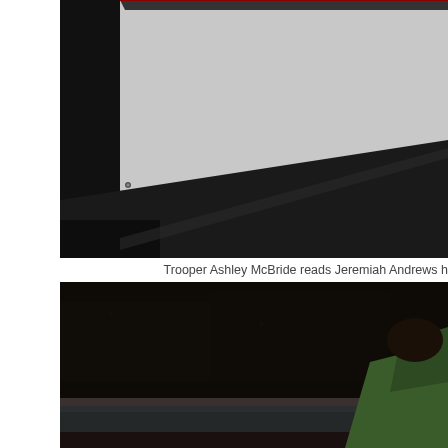[Figure (photo): Close-up photograph of a vehicle trunk/hood area. The image shows a dark car body with a light gray/silver surface (trunk lid or hood), shot from a low angle. The background is white and a small screw or bolt is visible on the left side.]
Trooper Ashley McBride reads Jeremiah Andrews h
[Figure (photo): Very dark nighttime photograph showing what appears to be the interior or exterior of a vehicle, with dark carpet/upholstery visible. In the bottom right corner, a person wearing a green garment is partially visible.]